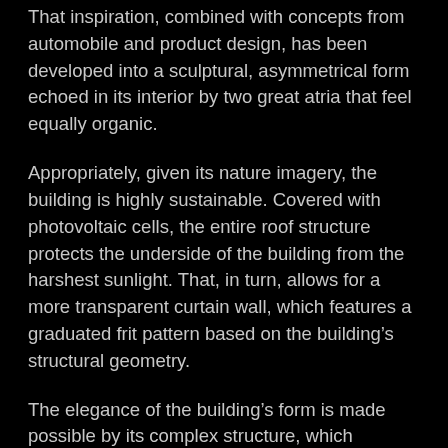That inspiration, combined with concepts from automobile and product design, has been developed into a sculptural, asymmetrical form echoed in its interior by two great atria that feel equally organic.
Appropriately, given its nature imagery, the building is highly sustainable. Covered with photovoltaic cells, the entire roof structure protects the underside of the building from the harshest sunlight. That, in turn, allows for a more transparent curtain wall, which features a graduated frit pattern based on the building’s structural geometry.
The elegance of the building’s form is made possible by its complex structure, which involves a system of belt trusses and large columns necessary